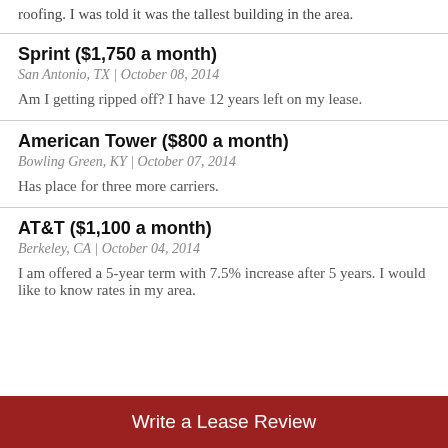roofing. I was told it was the tallest building in the area.
Sprint ($1,750 a month)
San Antonio, TX | October 08, 2014
Am I getting ripped off? I have 12 years left on my lease.
American Tower ($800 a month)
Bowling Green, KY | October 07, 2014
Has place for three more carriers.
AT&T ($1,100 a month)
Berkeley, CA | October 04, 2014
I am offered a 5-year term with 7.5% increase after 5 years. I would like to know rates in my area.
Write a Lease Review